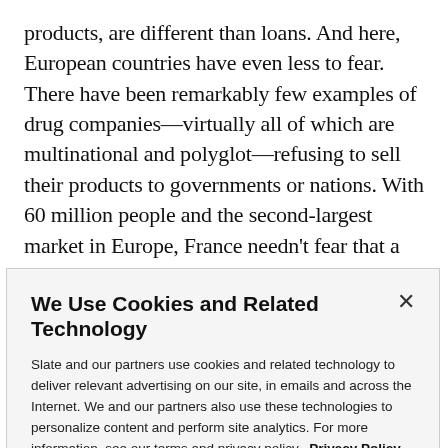products, are different than loans. And here, European countries have even less to fear. There have been remarkably few examples of drug companies—virtually all of which are multinational and polyglot—refusing to sell their products to governments or nations. With 60 million people and the second-largest market in Europe, France needn't fear that a Swiss takeover of Aventis will sharply reduce its ability to acquire vaccines. Swiss
We Use Cookies and Related Technology
Slate and our partners use cookies and related technology to deliver relevant advertising on our site, in emails and across the Internet. We and our partners also use these technologies to personalize content and perform site analytics. For more information, see our terms and privacy policy.  Privacy Policy
OK